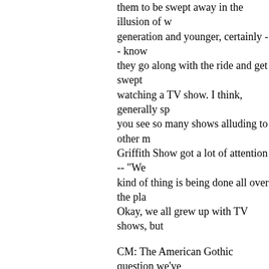them to be swept away in the illusion of w generation and younger, certainly -- know they go along with the ride and get swept watching a TV show. I think, generally sp you see so many shows alluding to other m Griffith Show got a lot of attention -- "We kind of thing is being done all over the pla Okay, we all grew up with TV shows, but
CM: The American Gothic question we've Why was Dr.Crower written out of the sto exit intended from the beginning?
SC: It's funny. I watched the pilot -- I had and I thought he was really good in it. An happened with him?" I thought he was so actor. I don't even necessarily think it was dominant. And CBS had this argument fro going to be the good guy? Who are they g The audience ain't going to be rooting for doing all the time, but he's just too charism bring in anyone you want, they're going to